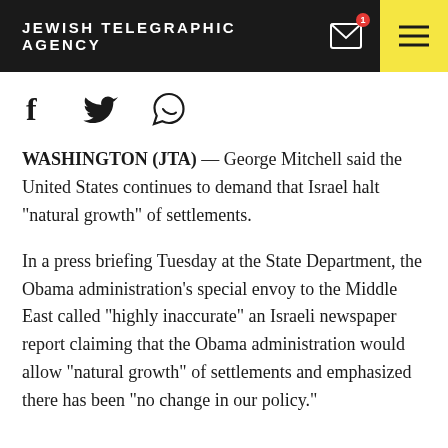JEWISH TELEGRAPHIC AGENCY
[Figure (other): Social share icons: Facebook (f), Twitter (bird), WhatsApp (speech bubble)]
WASHINGTON (JTA) — George Mitchell said the United States continues to demand that Israel halt "natural growth" of settlements.
In a press briefing Tuesday at the State Department, the Obama administration's special envoy to the Middle East called "highly inaccurate" an Israeli newspaper report claiming that the Obama administration would allow "natural growth" of settlements and emphasized there has been "no change in our policy."